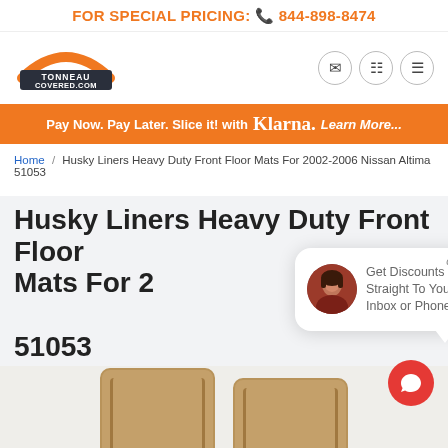FOR SPECIAL PRICING: 844-898-8474
[Figure (logo): TonneauCovered.com logo with orange arc and dark text]
Pay Now. Pay Later. Slice it! with Klarna. Learn More...
Home / Husky Liners Heavy Duty Front Floor Mats For 2002-2006 Nissan Altima 51053
Husky Liners Heavy Duty Front Floor Mats For 2002-2006 Nissan Altima 51053
[Figure (screenshot): Chat popup overlay with avatar photo of woman, text: Get Discounts Straight To Your Inbox or Phone, close button]
[Figure (photo): Product photo showing tan/beige floor mats at bottom of page]